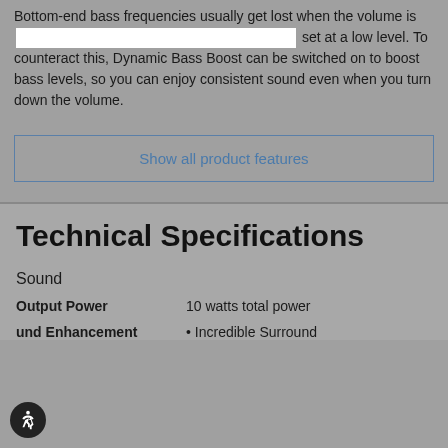Bottom-end bass frequencies usually get lost when the volume is set at a low level. To counteract this, Dynamic Bass Boost can be switched on to boost bass levels, so you can enjoy consistent sound even when you turn down the volume.
Show all product features
Technical Specifications
Sound
Output Power: 10 watts total power
Sound Enhancement: Incredible Surround